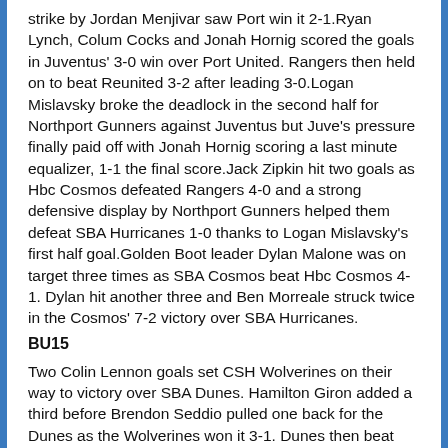strike by Jordan Menjivar saw Port win it 2-1.Ryan Lynch, Colum Cocks and Jonah Hornig scored the goals in Juventus' 3-0 win over Port United. Rangers then held on to beat Reunited 3-2 after leading 3-0.Logan Mislavsky broke the deadlock in the second half for Northport Gunners against Juventus but Juve's pressure finally paid off with Jonah Hornig scoring a last minute equalizer, 1-1 the final score.Jack Zipkin hit two goals as Hbc Cosmos defeated Rangers 4-0 and a strong defensive display by Northport Gunners helped them defeat SBA Hurricanes 1-0 thanks to Logan Mislavsky's first half goal.Golden Boot leader Dylan Malone was on target three times as SBA Cosmos beat Hbc Cosmos 4-1. Dylan hit another three and Ben Morreale struck twice in the Cosmos' 7-2 victory over SBA Hurricanes.
BU15
Two Colin Lennon goals set CSH Wolverines on their way to victory over SBA Dunes. Hamilton Giron added a third before Brendon Seddio pulled one back for the Dunes as the Wolverines won it 3-1. Dunes then beat Northport United Gold 3-0 with two Brendon Seddio strikes and one by Jessy Pacheco.Mixed Nuts led twice against the Wolverines with